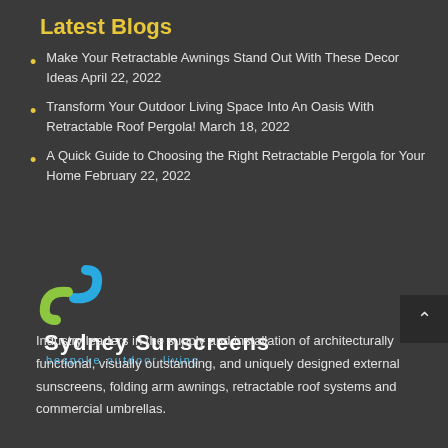Latest Blogs
Make Your Retractable Awnings Stand Out With These Decor Ideas April 22, 2022
Transform Your Outdoor Living Space Into An Oasis With Retractable Roof Pergola! March 18, 2022
A Quick Guide to Choosing the Right Retractable Pergola for Your Home February 22, 2022
[Figure (logo): Sydney Sunscreens logo with S-shaped icon in blue and yellow-green, with tagline 'bespoke outdoor living']
Industry leaders in the supply and installation of architecturally functional, visually outstanding, and uniquely designed external sunscreens, folding arm awnings, retractable roof systems and commercial umbrellas.